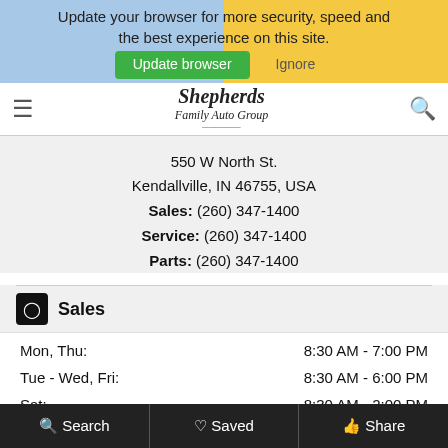Update your browser for more security, speed and the best experience on this site. [Update browser] [Ignore]
[Figure (logo): Shepherds Family Auto Group logo with hamburger menu and search icon]
550 W North St.
Kendallville, IN 46755, USA
Sales: (260) 347-1400
Service: (260) 347-1400
Parts: (260) 347-1400
Sales
| Day | Hours |
| --- | --- |
| Mon, Thu: | 8:30 AM - 7:00 PM |
| Tue - Wed, Fri: | 8:30 AM - 6:00 PM |
| Sat: | 8:30 AM - 2:00 PM |
| Sun: | Closed |
Service
| Day | Hours |
| --- | --- |
| Mon, Thu: | 8:00 AM - 7:00 PM |
| Tue - Wed, Fri: | 8:00 AM - 5:00 PM |
Search   Saved   Share